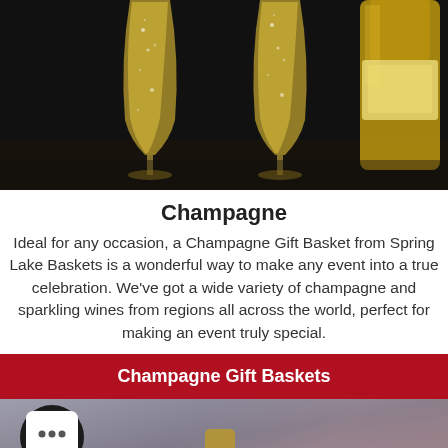[Figure (photo): Two champagne flutes filled with golden sparkling champagne in front of a champagne bottle, on a dark background]
Champagne
Ideal for any occasion, a Champagne Gift Basket from Spring Lake Baskets is a wonderful way to make any event into a true celebration. We've got a wide variety of champagne and sparkling wines from regions all across the world, perfect for making an event truly special.
Champagne Gift Baskets
[Figure (photo): Partial view of a blurred background with a chat bubble icon in the lower section of the page]